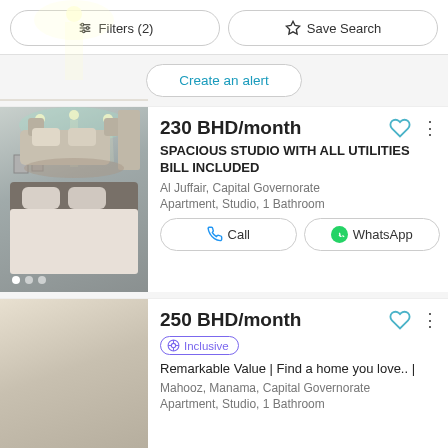Filters (2) | Save Search
Create an alert
[Figure (photo): Interior photo of a furnished studio apartment bedroom with large bed, grey headboard, recessed lighting, grey walls]
230 BHD/month
SPACIOUS STUDIO WITH ALL UTILITIES BILL INCLUDED
Al Juffair, Capital Governorate
Apartment, Studio, 1 Bathroom
Call | WhatsApp
[Figure (photo): Interior photo of a bright studio apartment with white walls, recessed lighting, and furniture]
250 BHD/month
Inclusive
Remarkable Value | Find a home you love.. |
Mahooz, Manama, Capital Governorate
Apartment, Studio, 1 Bathroom